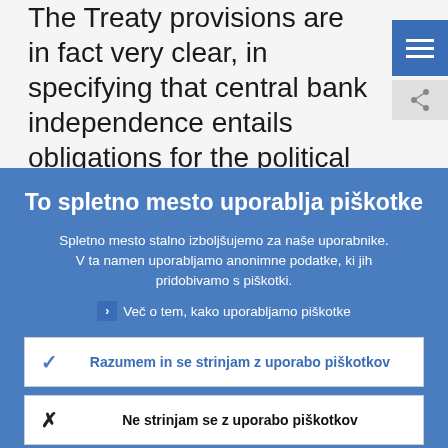The Treaty provisions are in fact very clear, in specifying that central bank independence entails obligations for the political authorities. In particular, Article 108
To spletno mesto uporablja piškotke
Spletno mesto stalno izboljšujemo za naše uporabnike. V ta namen uporabljamo anonimne podatke, ki jih pridobivamo s piškotki.
Več o tem, kako uporabljamo piškotke
Razumem in se strinjam z uporabo piškotkov
Ne strinjam se z uporabo piškotkov